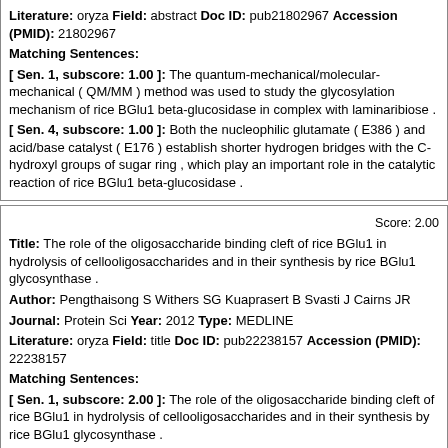Literature: oryza Field: abstract Doc ID: pub21802967 Accession (PMID): 21802967
Matching Sentences:
[ Sen. 1, subscore: 1.00 ]: The quantum-mechanical/molecular-mechanical ( QM/MM ) method was used to study the glycosylation mechanism of rice BGlu1 beta-glucosidase in complex with laminaribiose .
[ Sen. 4, subscore: 1.00 ]: Both the nucleophilic glutamate ( E386 ) and acid/base catalyst ( E176 ) establish shorter hydrogen bridges with the C-hydroxyl groups of sugar ring , which play an important role in the catalytic reaction of rice BGlu1 beta-glucosidase .
Score: 2.00
Title: The role of the oligosaccharide binding cleft of rice BGlu1 in hydrolysis of cellooligosaccharides and in their synthesis by rice BGlu1 glycosynthase .
Author: Pengthaisong S Withers SG Kuaprasert B Svasti J Cairns JR
Journal: Protein Sci Year: 2012 Type: MEDLINE
Literature: oryza Field: title Doc ID: pub22238157 Accession (PMID): 22238157
Matching Sentences:
[ Sen. 1, subscore: 2.00 ]: The role of the oligosaccharide binding cleft of rice BGlu1 in hydrolysis of cellooligosaccharides and in their synthesis by rice BGlu1 glycosynthase .
Score: 1.00
Title: A telomeric avirulence gene determines efficacy for the rice blast resistance gene Pi-ta .